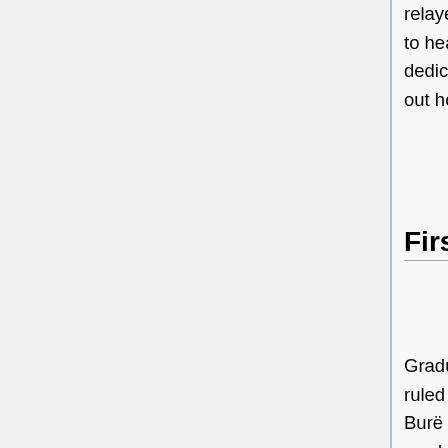relayed this message to Emperor Stanzhi Burë who asked Kazhiw Lmget to head the Order of the Elder Beings, a society of priests and scholars dedicated towards finding out more about these divine beings and figuring out how to grant the Burë line their secret powers.
First Htaevic Empire (6,804-7,005 Y)
Gradually, this order became more and more powerful until eventually they ruled the Htaevic empire in all but name; while they would grant the current Burë ruler the 'divine right' to rule over all of the Htaevic realm, the order would use its large bureaucracy to get its way in any disagreement with the imperial household. As the Htaevic's religious